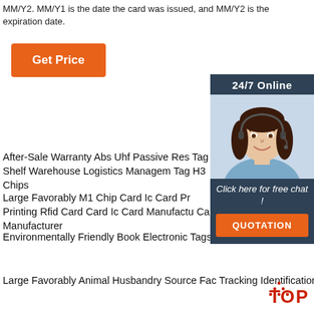MM/Y2. MM/Y1 is the date the card was issued, and MM/Y2 is the expiration date.
[Figure (other): Orange 'Get Price' button]
[Figure (other): Customer service chat widget with '24/7 Online' header, photo of female agent with headset, 'Click here for free chat!' text, and orange QUOTATION button]
After-Sale Warranty Abs Uhf Passive Res Tag Shelf Warehouse Logistics Management Tag H3 Chips
Large Favorably M1 Chip Card Ic Card Printing Rfid Card Card Ic Card Manufacturer Card Manufacturer
Environmentally Friendly Book Electronic Tags Rfid Icode Slix High-Frequency Coated 50 50 Mm Book Label Stock
Large Favorably Animal Husbandry Source Factory Tracking Identification Management Uhf Rfid Electronic Tag Animal Ear Tag
[Figure (logo): Red TOP logo with dotted triangle design]